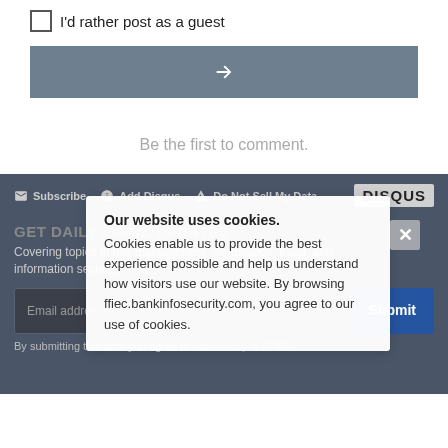I'd rather post as a guest
[Figure (other): Arrow button (right arrow icon on grey background)]
Be the first to comment.
Subscribe  Add Disqus  Do Not Sell My Data  DISQUS
GET DAILY EMAIL UPDATES
Covering topics in risk management, compliance, fraud, and information security.
Email address  Submit
By submitting this form you agree to our Privacy & GDPR
Our website uses cookies. Cookies enable us to provide the best experience possible and help us understand how visitors use our website. By browsing ffiec.bankinfosecurity.com, you agree to our use of cookies.